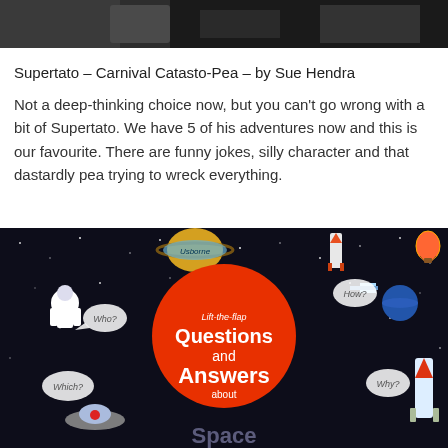[Figure (photo): Top cropped photo of a dark/black background scene, partially visible at the top of the page]
Supertato – Carnival Catasto-Pea – by Sue Hendra
Not a deep-thinking choice now, but you can't go wrong with a bit of Supertato. We have 5 of his adventures now and this is our favourite. There are funny jokes, silly character and that dastardly pea trying to wreck everything.
[Figure (photo): Book cover photo of 'Lift-the-flap Questions and Answers about Space' by Usborne, showing a dark space background with planets, astronaut, rockets, satellites and a large orange sun in the center with the title text]